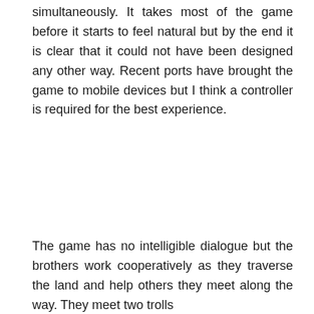simultaneously. It takes most of the game before it starts to feel natural but by the end it is clear that it could not have been designed any other way. Recent ports have brought the game to mobile devices but I think a controller is required for the best experience.
The game has no intelligible dialogue but the brothers work cooperatively as they traverse the land and help others they meet along the way. They meet two trolls